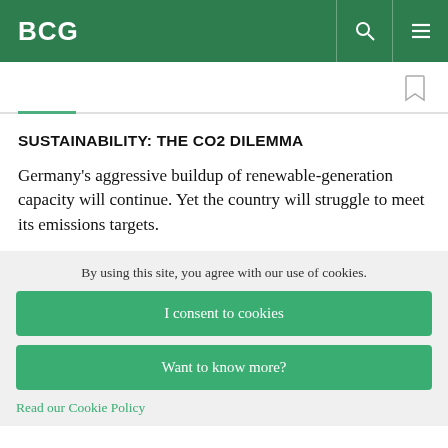BCG
SUSTAINABILITY: THE CO2 DILEMMA
Germany's aggressive buildup of renewable-generation capacity will continue. Yet the country will struggle to meet its emissions targets.
By using this site, you agree with our use of cookies.
I consent to cookies
Want to know more?
Read our Cookie Policy